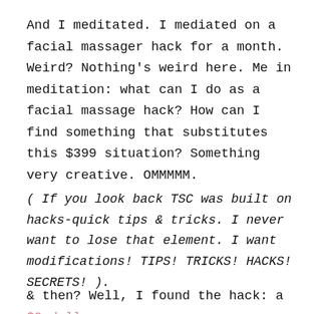And I meditated. I mediated on a facial massager hack for a month. Weird? Nothing's weird here. Me in meditation: what can I do as a facial massage hack? How can I find something that substitutes this $399 situation? Something very creative. OMMMMM.
( If you look back TSC was built on hacks-quick tips & tricks. I never want to lose that element. I want modifications! TIPS! TRICKS! HACKS! SECRETS! ).
& then? Well, I found the hack: a $9 dollar